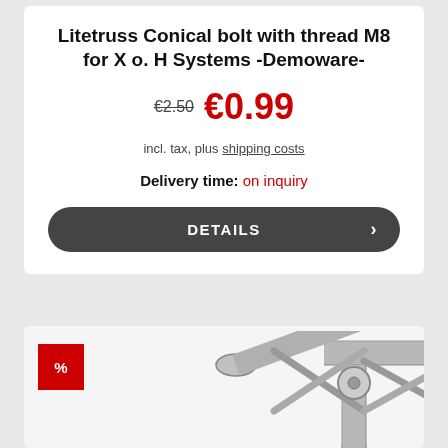Litetruss Conical bolt with thread M8 for X o. H Systems -Demoware-
€2.50 €0.99
incl. tax, plus shipping costs
Delivery time: on inquiry
DETAILS
[Figure (photo): Photo of a metallic truss corner connector piece with tubular steel construction, showing a 3D lattice truss joint/corner used in staging or lighting truss systems.]